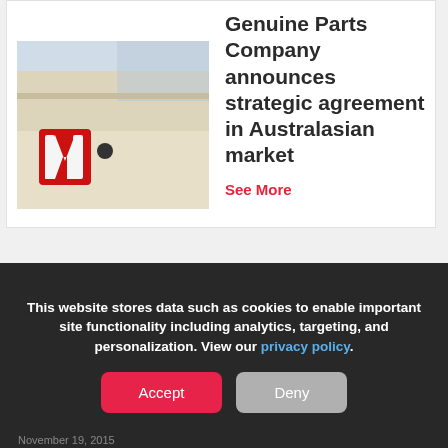[Figure (photo): Exterior building photo showing a red 'mi' logo on a beige/tan wall]
Genuine Parts Company announces strategic agreement in Australasian market
See More
Events
This website stores data such as cookies to enable important site functionality including analytics, targeting, and personalization. View our privacy policy.
Accept
Deny
November 19, 2015